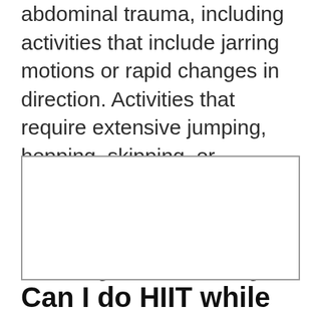abdominal trauma, including activities that include jarring motions or rapid changes in direction. Activities that require extensive jumping, hopping, skipping, or bouncing. Deep knee bends, full sit-ups, double leg raises and straight-leg toe touches. Bouncing while stretching.
[Figure (other): Empty bordered box placeholder image]
Can I do HIIT while